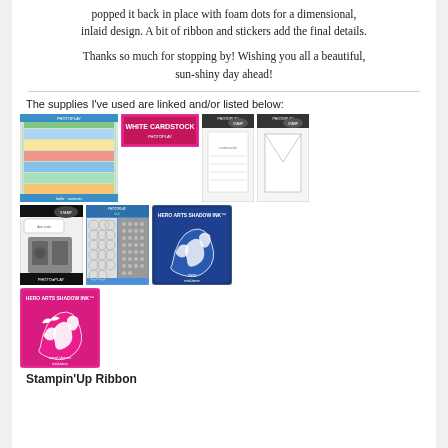popped it back in place with foam dots for a dimensional, inlaid design. A bit of ribbon and stickers add the final details.
Thanks so much for stopping by! Wishing you all a beautiful, sun-shiny day ahead!
The supplies I've used are linked and/or listed below:
[Figure (photo): Grid of craft supply product images: patterned paper pad, white cardstock, stamp sets, die cuts, embossing folders, Hero Arts Shadow Ink navy, Hero Arts Shadow Ink pink]
Stampin'Up Ribbon